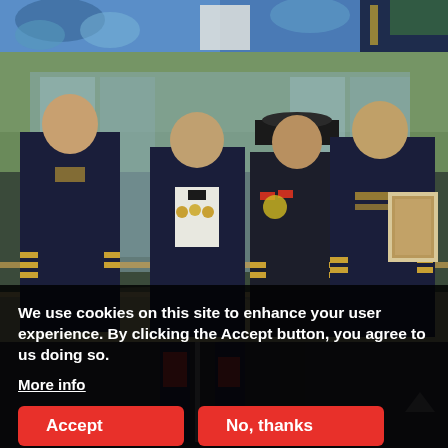[Figure (photo): Top strip of a photo showing decorative floral/tropical background with military uniform visible at right edge]
[Figure (photo): Four men posing indoors in front of glass building entrance. Three are wearing US Army dress blue uniforms with gold stripes and sergeant major insignia. One in center wears a tuxedo with bow tie and a ceremonial hat with medals. Background shows trees and modern building atrium with railings.]
[Figure (photo): Bottom strip showing partial view of flags or decorative items in dark background]
We use cookies on this site to enhance your user experience. By clicking the Accept button, you agree to us doing so.
More info
Accept
No, thanks